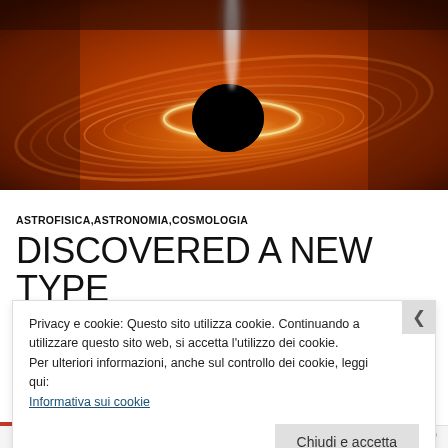[Figure (photo): Artistic illustration of a black hole with an accretion disk — swirling orange and red glowing matter spiraling around a dark central mass, with a bright jet of light above.]
ASTROFISICA,ASTRONOMIA,COSMOLOGIA
DISCOVERED A NEW TYPE OF BLACK HOLE QUASAR-
Privacy e cookie: Questo sito utilizza cookie. Continuando a utilizzare questo sito web, si accetta l'utilizzo dei cookie.
Per ulteriori informazioni, anche sul controllo dei cookie, leggi qui:
Informativa sui cookie
Chiudi e accetta